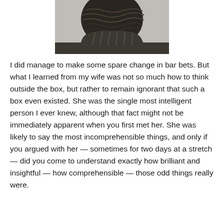[Figure (photo): Black and white photograph showing the back of a person's head with wavy/striped hair, wearing a striped garment, partial view of shoulder and white surface below.]
I did manage to make some spare change in bar bets. But what I learned from my wife was not so much how to think outside the box, but rather to remain ignorant that such a box even existed. She was the single most intelligent person I ever knew, although that fact might not be immediately apparent when you first met her. She was likely to say the most incomprehensible things, and only if you argued with her — sometimes for two days at a stretch — did you come to understand exactly how brilliant and insightful — how comprehensible — those odd things really were.